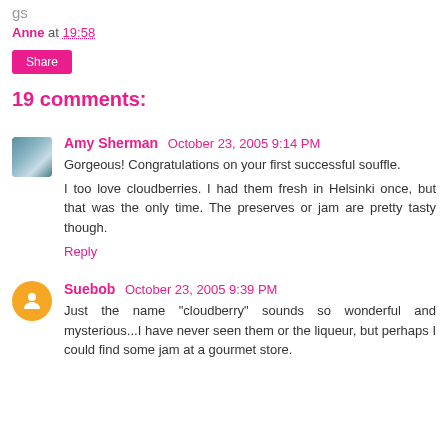Anne at 19:58
Share
19 comments:
Amy Sherman  October 23, 2005 9:14 PM
Gorgeous! Congratulations on your first successful souffle.

I too love cloudberries. I had them fresh in Helsinki once, but that was the only time. The preserves or jam are pretty tasty though.
Reply
Suebob  October 23, 2005 9:39 PM
Just the name "cloudberry" sounds so wonderful and mysterious...I have never seen them or the liqueur, but perhaps I could find some jam at a gourmet store.